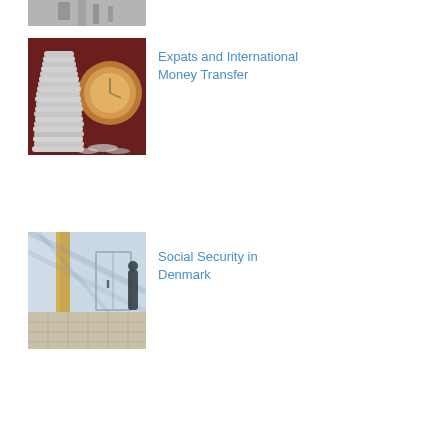[Figure (photo): Partial view of a person with bicycle or similar, black and white photo, cropped at top]
[Figure (photo): Stack of silver coins with blurred clock in background on dark red surface]
Expats and International Money Transfer
[Figure (photo): Interior hallway or corridor with glass door and sunlight casting shadows on tiled floor]
Social Security in Denmark